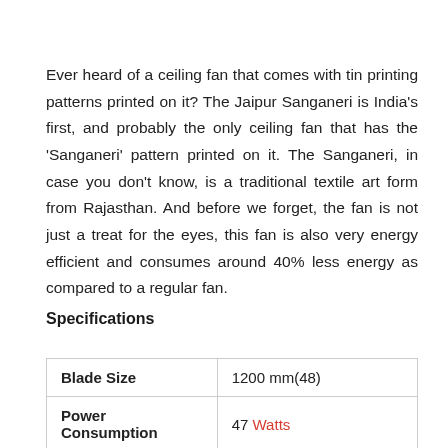Ever heard of a ceiling fan that comes with tin printing patterns printed on it? The Jaipur Sanganeri is India's first, and probably the only ceiling fan that has the 'Sanganeri' pattern printed on it. The Sanganeri, in case you don't know, is a traditional textile art form from Rajasthan. And before we forget, the fan is not just a treat for the eyes, this fan is also very energy efficient and consumes around 40% less energy as compared to a regular fan.
Specifications
|  |  |
| --- | --- |
| Blade Size | 1200 mm(48) |
| Power Consumption | 47 Watts |
| Air Delivery | 235 CMM |